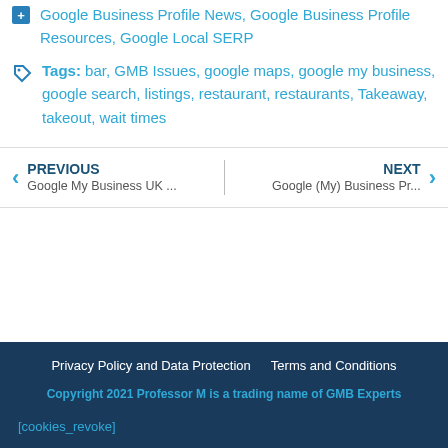Google Business Profile News, Google Business Profile Resources, Google Local SERP
Tags: bar, GMB Issues, google maps, google my business, google search, listings, restaurant, restaurants, Takeaway, takeout, wait times
PREVIOUS Google My Business UK ...
NEXT Google (My) Business Pr...
Privacy Policy and Data Protection   Terms and Conditions
Copyright 2021 Professor M is a trading name of GMB Experts
[cookies_revoke]